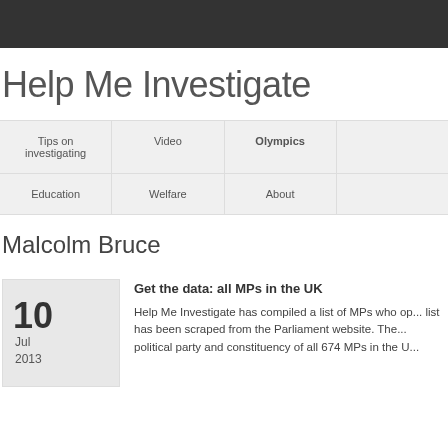Help Me Investigate
Help Me Investigate
Tips on investigating
Video
Olympics
Education
Welfare
About
Malcolm Bruce
10 Jul 2013
Get the data: all MPs in the UK
Help Me Investigate has compiled a list of MPs who op... list has been scraped from the Parliament website. The... political party and constituency of all 674 MPs in the U...